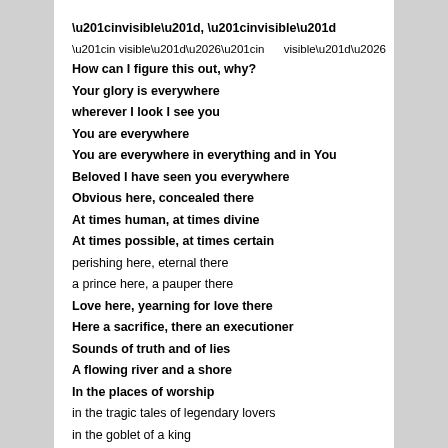“invisible”, “invisible”
“in visible”…“in      visible”…
How can I figure this out, why?
Your glory is everywhere
wherever I look I see you
You are everywhere
You are everywhere in everything and in You
Beloved I have seen you everywhere
Obvious here, concealed there
At times human, at times divine
At times possible, at times certain
perishing here, eternal there
a prince here, a pauper there
Love here, yearning for love there
Here a sacrifice, there an executioner
Sounds of truth and of lies
A flowing river and a shore
In the places of worship
in the tragic tales of legendary lovers
in the goblet of a king
in the full moon